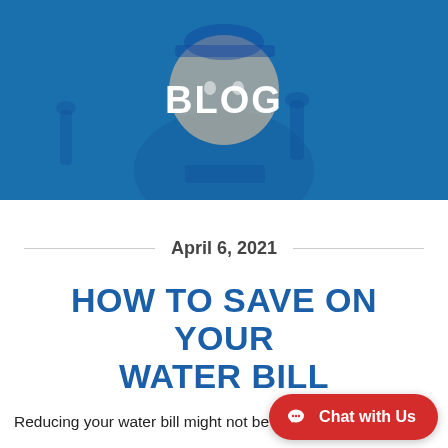[Figure (illustration): Blue background hero banner with a cartoon plumber mascot wearing a blue uniform with 'BELO' text, centered. The word BLOG appears in large white bold text overlaid on the mascot.]
BLOG
April 6, 2021
HOW TO SAVE ON YOUR WATER BILL
Reducing your water bill might not be too high